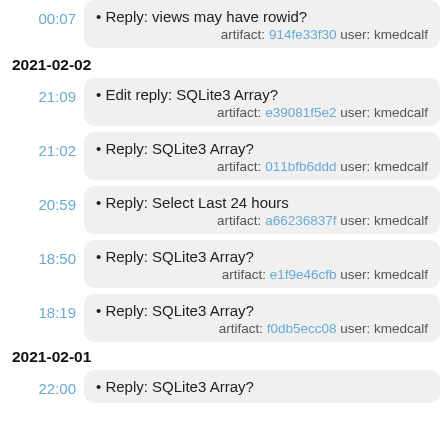00:07 • Reply: views may have rowid? artifact: 914fe33f30 user: kmedcalf
2021-02-02
21:09 • Edit reply: SQLite3 Array? artifact: e39081f5e2 user: kmedcalf
21:02 • Reply: SQLite3 Array? artifact: 011bfb6ddd user: kmedcalf
20:59 • Reply: Select Last 24 hours artifact: a66236837f user: kmedcalf
18:50 • Reply: SQLite3 Array? artifact: e1f9e46cfb user: kmedcalf
18:19 • Reply: SQLite3 Array? artifact: f0db5ecc08 user: kmedcalf
2021-02-01
22:00 • Reply: SQLite3 Array?